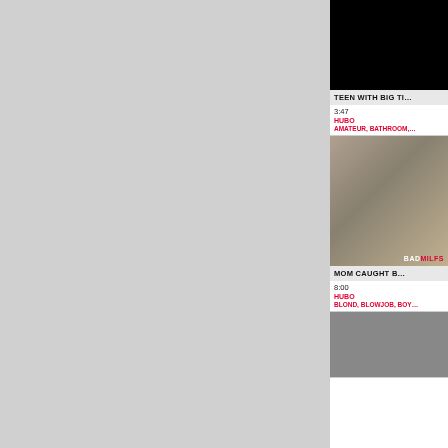[Figure (screenshot): Left portion of webpage showing a textured light gray background taking up roughly 75% of the page width]
[Figure (screenshot): Video thumbnail: black/dark frame for 'TEEN WITH BIG TI...' video, duration 3:47, channel HUBO, tags AMATEUR, BATHROOM,...]
TEEN WITH BIG TI...
3:47
HUBO
AMATEUR, BATHROOM,...
[Figure (screenshot): Video thumbnail: scene from 'MOM CAUGHT B...' video with BADMILFS watermark, duration 8:00, channel HUBO, tags BLOND, BLOWJOB, BOY...]
MOM CAUGHT B...
8:00
HUBO
BLOND, BLOWJOB, BOY...
[Figure (screenshot): Partial video thumbnail at bottom, partially visible]